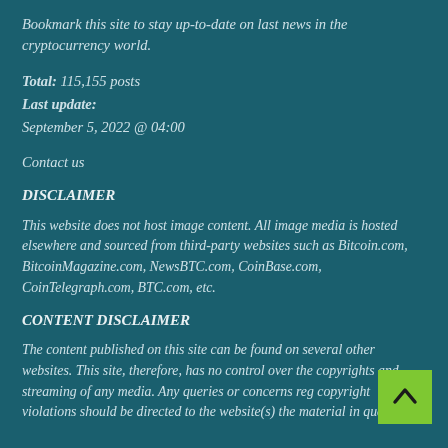Bookmark this site to stay up-to-date on last news in the cryptocurrency world.
Total: 115,155 posts
Last update:
September 5, 2022 @ 04:00
Contact us
DISCLAIMER
This website does not host image content. All image media is hosted elsewhere and sourced from third-party websites such as Bitcoin.com, BitcoinMagazine.com, NewsBTC.com, CoinBase.com, CoinTelegraph.com, BTC.com, etc.
CONTENT DISCLAIMER
The content published on this site can be found on several other websites. This site, therefore, has no control over the copyrights and streaming of any media. Any queries or concerns reg copyright violations should be directed to the website(s) the material in question.